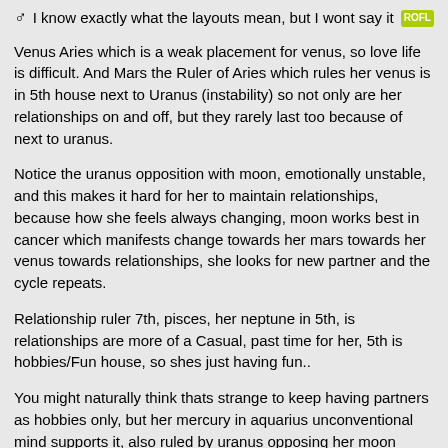♂︎ I know exactly what the layouts mean, but I wont say it 🤣
Venus Aries which is a weak placement for venus, so love life is difficult. And Mars the Ruler of Aries which rules her venus is in 5th house next to Uranus (instability) so not only are her relationships on and off, but they rarely last too because of next to uranus.
Notice the uranus opposition with moon, emotionally unstable, and this makes it hard for her to maintain relationships, because how she feels always changing, moon works best in cancer which manifests change towards her mars towards her venus towards relationships, she looks for new partner and the cycle repeats.
Relationship ruler 7th, pisces, her neptune in 5th, is relationships are more of a Casual, past time for her, 5th is hobbies/Fun house, so shes just having fun..
You might naturally think thats strange to keep having partners as hobbies only, but her mercury in aquarius unconventional mind supports it, also ruled by uranus opposing her moon manifesting change towards her mars towards her venus and lastly towards her? U got it, relationships 😉
The moon opposite mars would trigger her temper before she would change to a new partner and cheat on the other.
To top it off, has desires freedom within her hobbies, so even when having casual